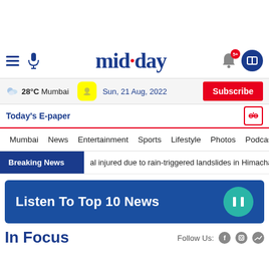[Figure (logo): mid-day logo with blue text and red dot]
28°C Mumbai
Sun, 21 Aug, 2022
Subscribe
Today's E-paper
Mumbai  News  Entertainment  Sports  Lifestyle  Photos  Podcast  Ti...
Breaking News  al injured due to rain-triggered landslides in Himachal Prade...
Listen To Top 10 News
In Focus
Follow Us: